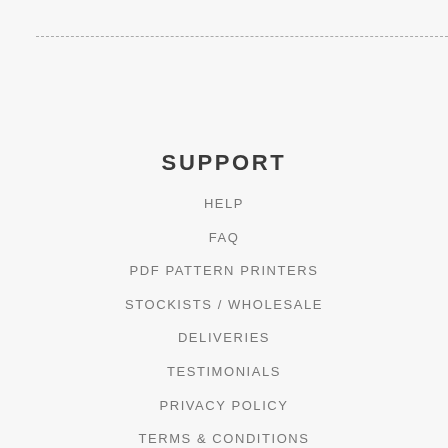SUPPORT
HELP
FAQ
PDF PATTERN PRINTERS
STOCKISTS / WHOLESALE
DELIVERIES
TESTIMONIALS
PRIVACY POLICY
TERMS & CONDITIONS